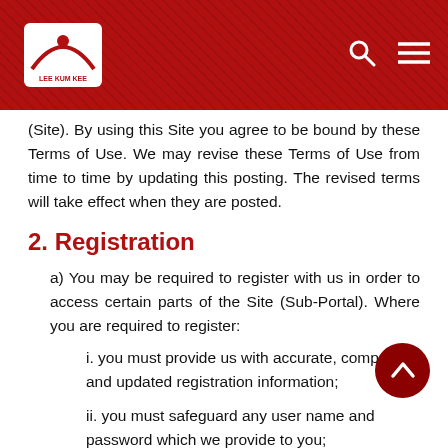Lee Kum Kee site header with logo, search and menu icons
(Site). By using this Site you agree to be bound by these Terms of Use. We may revise these Terms of Use from time to time by updating this posting. The revised terms will take effect when they are posted.
2. Registration
a) You may be required to register with us in order to access certain parts of the Site (Sub-Portal). Where you are required to register:
i. you must provide us with accurate, complete and updated registration information;
ii. you must safeguard any user name and password which we provide to you;